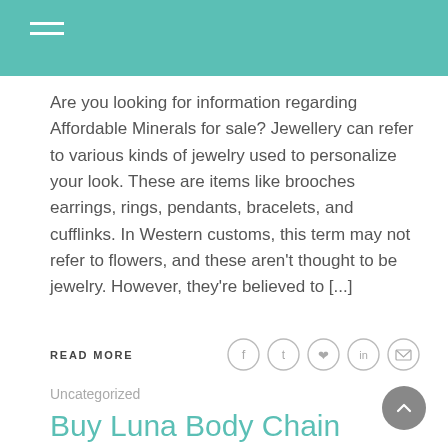Are you looking for information regarding Affordable Minerals for sale? Jewellery can refer to various kinds of jewelry used to personalize your look. These are items like brooches earrings, rings, pendants, bracelets, and cufflinks. In Western customs, this term may not refer to flowers, and these aren't thought to be jewelry. However, they're believed to [...]
READ MORE
Uncategorized
Buy Luna Body Chain
ADMIN  AUGUST 11, 2010  BUY LUNA BODY CHAIN
Are you looking for information regarding...